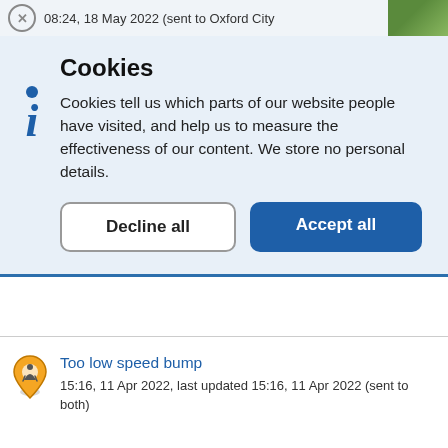08:24, 18 May 2022 (sent to Oxford City
Cookies
Cookies tell us which parts of our website people have visited, and help us to measure the effectiveness of our content. We store no personal details.
Decline all
Accept all
10:57, 2 May 2022 (sent to Oxford City Council)
Too low speed bump
15:16, 11 Apr 2022, last updated 15:16, 11 Apr 2022 (sent to both)